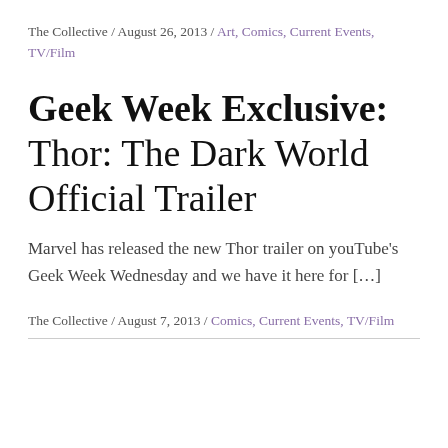The Collective / August 26, 2013 / Art, Comics, Current Events, TV/Film
Geek Week Exclusive: Thor: The Dark World Official Trailer
Marvel has released the new Thor trailer on youTube's Geek Week Wednesday and we have it here for […]
The Collective / August 7, 2013 / Comics, Current Events, TV/Film